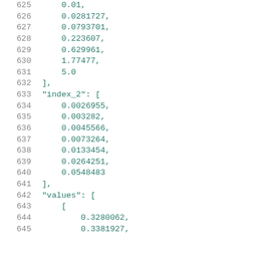Code listing showing JSON/Python data structure with line numbers 625-645, containing numeric array values for index_2 and values fields.